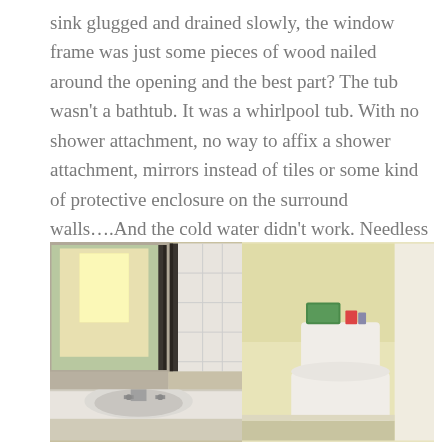sink glugged and drained slowly, the window frame was just some pieces of wood nailed around the opening and the best part? The tub wasn't a bathtub. It was a whirlpool tub. With no shower attachment, no way to affix a shower attachment, mirrors instead of tiles or some kind of protective enclosure on the surround walls….And the cold water didn't work. Needless to say, it was less than ideal.
[Figure (photo): Two side-by-side bathroom photos. Left: bathroom sink with mirror reflecting a window and tiled wall. Right: bathroom toilet with yellow walls and toiletries on top of the tank.]